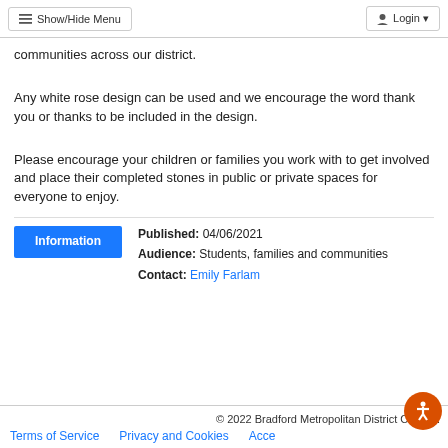Show/Hide Menu   Login
communities across our district.
Any white rose design can be used and we encourage the word thank you or thanks to be included in the design.
Please encourage your children or families you work with to get involved and place their completed stones in public or private spaces for everyone to enjoy.
Information  Published: 04/06/2021  Audience: Students, families and communities  Contact: Emily Farlam
© 2022 Bradford Metropolitan District Council.  Terms of Service   Privacy and Cookies   Acce...